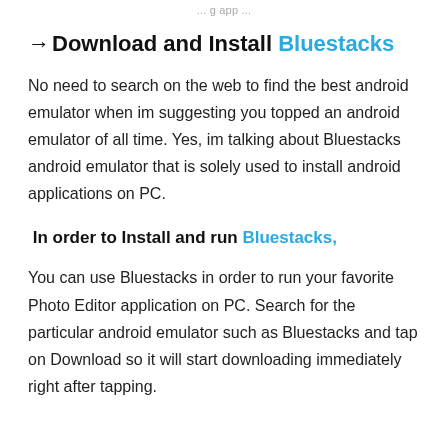... g app ...
→ Download and Install Bluestacks
No need to search on the web to find the best android emulator when im suggesting you topped an android emulator of all time. Yes, im talking about Bluestacks android emulator that is solely used to install android applications on PC.
In order to Install and run Bluestacks,
You can use Bluestacks in order to run your favorite Photo Editor application on PC. Search for the particular android emulator such as Bluestacks and tap on Download so it will start downloading immediately right after tapping.